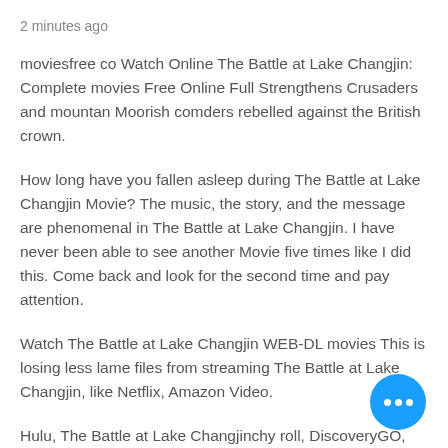2 minutes ago
moviesfree  co Watch Online The Battle at Lake Changjin: Complete movies Free  Online Full Strengthens Crusaders and mountan Moorish comders rebelled  against the British crown.
How long have you fallen asleep during  The Battle at Lake Changjin Movie? The music, the story, and the  message are phenomenal in The Battle at Lake Changjin. I have never been  able to see another Movie five times like I did this. Come back and  look for the second time and pay attention.
Watch The Battle at  Lake Changjin WEB-DL movies This is losing less lame files from  streaming The Battle at Lake Changjin, like Netflix, Amazon Video.
Hulu,  The Battle at Lake Changjinchy roll,  DiscoveryGO, BBC iPlayer, etc.  These are also